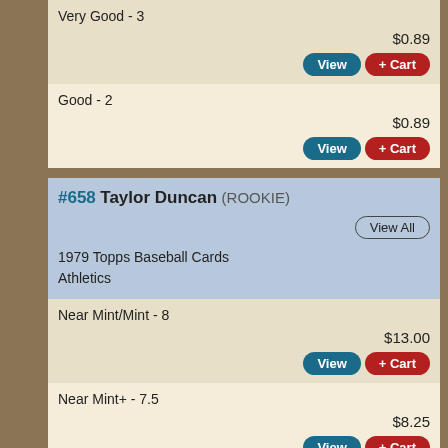Very Good - 3
$0.89
Good - 2
$0.89
#658 Taylor Duncan (ROOKIE)
1979 Topps Baseball Cards
Athletics
Near Mint/Mint - 8
$13.00
Near Mint+ - 7.5
$8.25
Near Mint - 7
$3.50
Excellent/Mint+ - 6.5
$2.75